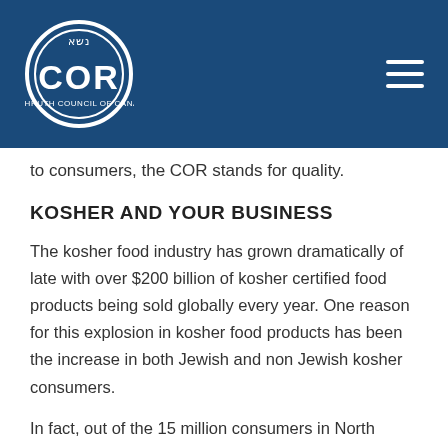COR logo and navigation
to consumers, the COR stands for quality.
KOSHER AND YOUR BUSINESS
The kosher food industry has grown dramatically of late with over $200 billion of kosher certified food products being sold globally every year. One reason for this explosion in kosher food products has been the increase in both Jewish and non Jewish kosher consumers.
In fact, out of the 15 million consumers in North America who seek out strictly kosher food products, only 15% are Jewish. The other 85% are made up of consumers who view kosher products as being more